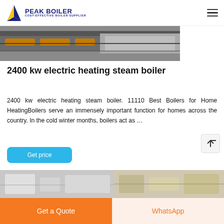PEAK BOILER COST-EFFECTIVE BOILER SUPPLIER
[Figure (photo): Industrial electric steam boiler equipment with yellow/orange pipes and metal casing, top partial view]
2400 kw electric heating steam boiler
2400 kw electric heating steam boiler. 11110 Best Boilers for Home HeatingBoilers serve an immensely important function for homes across the country. In the cold winter months, boilers act as …
[Figure (screenshot): Get price button - teal/cyan rounded rectangle button]
[Figure (photo): Bottom partial images of boiler equipment, two side-by-side photos]
Get a Quote | WhatsApp